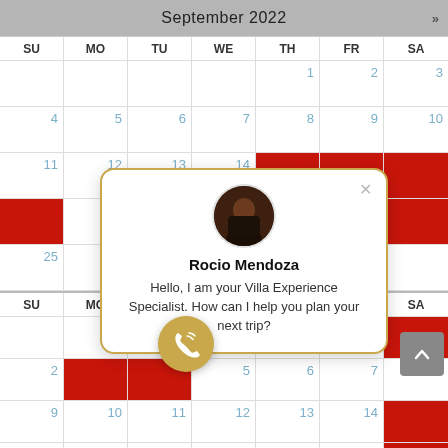[Figure (screenshot): Calendar screenshot showing September 2022 with booked dates highlighted in red (15, 16, 17, 22, 23, 24, 29, 30) and a second partial month below. A chat popup from Rocio Mendoza (Villa Experience Specialist) overlays the calendar. A gold phone button and grey back-to-top button are visible.]
Rocio Mendoza
Hello, I am your Villa Experience Specialist. How can I help you plan your next trip?